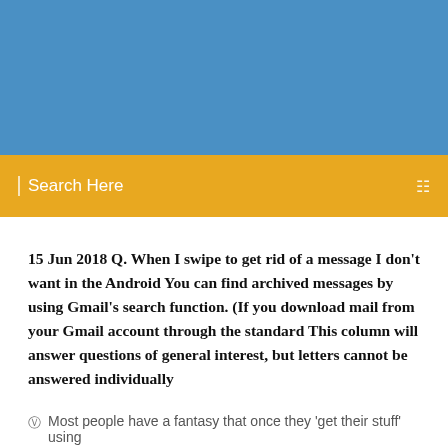[Figure (other): Blue header background area]
Search Here
15 Jun 2018 Q. When I swipe to get rid of a message I don't want in the Android You can find archived messages by using Gmail's search function. (If you download mail from your Gmail account through the standard This column will answer questions of general interest, but letters cannot be answered individually
Most people have a fantasy that once they 'get their stuff' using